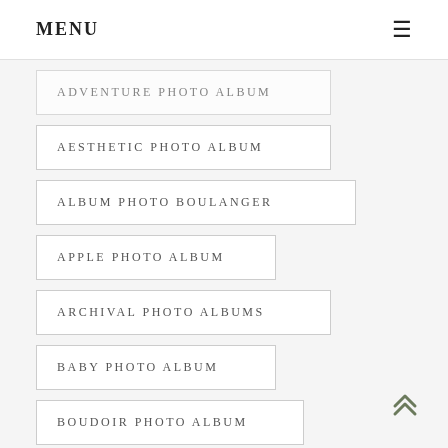MENU
ADVENTURE PHOTO ALBUM
AESTHETIC PHOTO ALBUM
ALBUM PHOTO BOULANGER
APPLE PHOTO ALBUM
ARCHIVAL PHOTO ALBUMS
BABY PHOTO ALBUM
BOUDOIR PHOTO ALBUM
BULK PHOTO ALBUMS